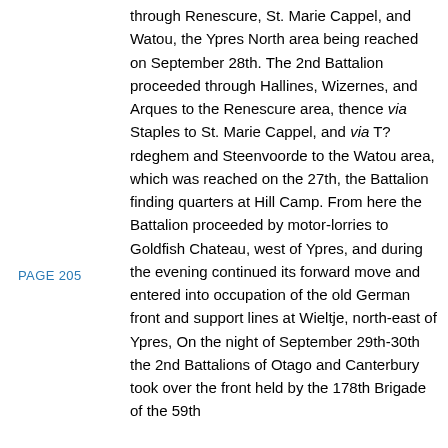PAGE 205
through Renescure, St. Marie Cappel, and Watou, the Ypres North area being reached on September 28th. The 2nd Battalion proceeded through Hallines, Wizernes, and Arques to the Renescure area, thence via Staples to St. Marie Cappel, and via T?rdeghem and Steenvoorde to the Watou area, which was reached on the 27th, the Battalion finding quarters at Hill Camp. From here the Battalion proceeded by motor-lorries to Goldfish Chateau, west of Ypres, and during the evening continued its forward move and entered into occupation of the old German front and support lines at Wieltje, north-east of Ypres, On the night of September 29th-30th the 2nd Battalions of Otago and Canterbury took over the front held by the 178th Brigade of the 59th